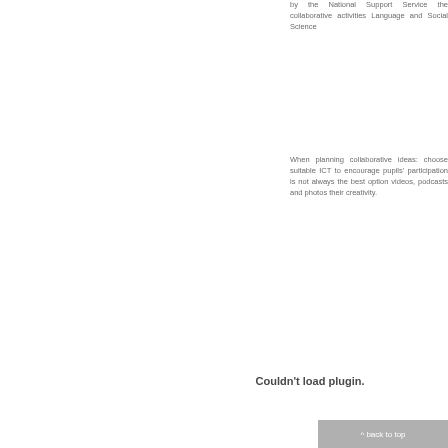by the National Support Service the collaborative activities Language and Social Science
When planning collaborative ideas: choose suitable ICT to encourage pupils' participation is not always the best option videos, podcasts and photo their creativity.
Couldn't load plugin.
^ back to top